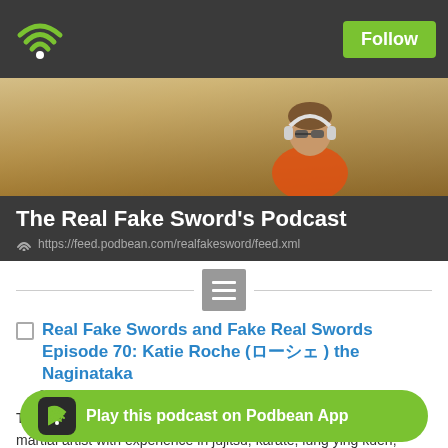[Figure (logo): Podbean podcast app WiFi/signal logo in green on dark grey top nav bar]
Follow
[Figure (photo): Banner photo of a woman wearing sunglasses and headphones, orange jacket, outdoors in a field with warm golden light]
The Real Fake Sword's Podcast
https://feed.podbean.com/realfakesword/feed.xml
[Figure (other): Hamburger/menu icon button in grey]
Real Fake Swords and Fake Real Swords Episode 70: Katie Roche (ロシェ) the Naginataka
July 29, 2020
This time our honored guest is Katie Roche (ロシェ), a life long martial artist with experience in jujitsu, karate, lung ying kuen, kendo, and the final art she will speak about naginata.
Play this podcast on Podbean App